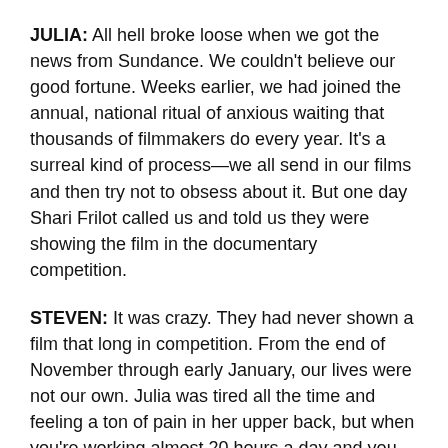JULIA: All hell broke loose when we got the news from Sundance. We couldn't believe our good fortune. Weeks earlier, we had joined the annual, national ritual of anxious waiting that thousands of filmmakers do every year. It's a surreal kind of process—we all send in our films and then try not to obsess about it. But one day Shari Frilot called us and told us they were showing the film in the documentary competition.
STEVEN: It was crazy. They had never shown a film that long in competition. From the end of November through early January, our lives were not our own. Julia was tired all the time and feeling a ton of pain in her upper back, but when you're working almost 20 hours a day and you haven't had a day off in months, of course you're tired and aching all the time. I kick myself now that I didn't see the signs that Julia was getting sick—that it wasn't just exhaustion.